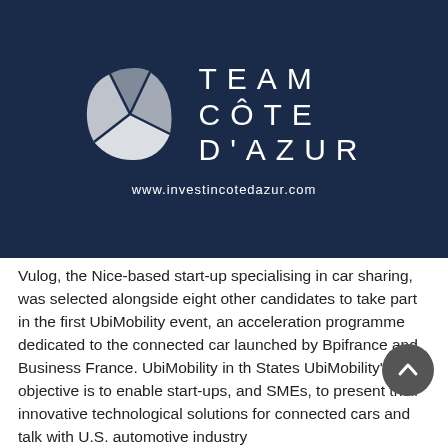[Figure (logo): Team Côte d'Azur logo on dark navy background with globe/arrow icon and URL www.investincotedazur.com]
Vulog, the Nice-based start-up specialising in car sharing, was selected alongside eight other candidates to take part in the first UbiMobility event, an acceleration programme dedicated to the connected car launched by Bpifrance and Business France. UbiMobility in the United States UbiMobility's objective is to enable start-ups, and SMEs, to present their innovative technological solutions for connected cars and talk with U.S. automotive industry